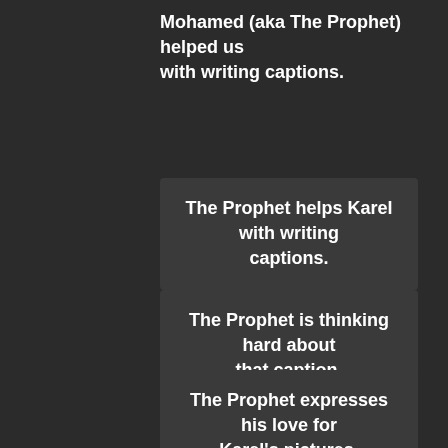Mohamed (aka The Prophet) helped us with writing captions.
The Prophet helps Karel with writing captions.
The Prophet is thinking hard about that caption.
The Prophet expresses his love for Karel's pictures.